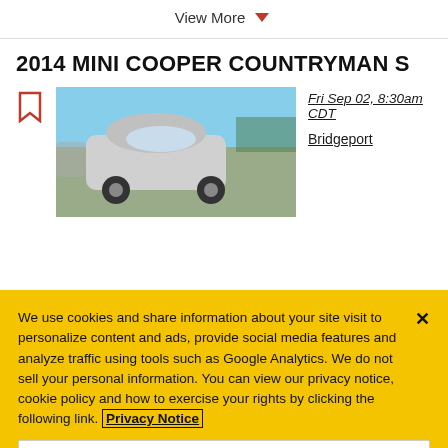View More
2014 MINI COOPER COUNTRYMAN S
[Figure (photo): Photo of a silver 2014 Mini Cooper Countryman S in a parking lot, viewed from front-left angle]
Fri Sep 02, 8:30am CDT
Bridgeport
We use cookies and share information about your site visit to personalize content and ads, provide social media features and analyze traffic using tools such as Google Analytics. We do not sell your personal information. You can view our privacy notice, cookie policy and how to exercise your rights by clicking the following link. Privacy Notice
Cookie Settings
Reject All
Accept Cookies